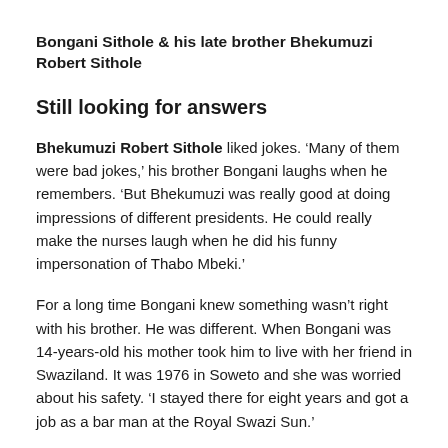Bongani Sithole & his late brother Bhekumuzi Robert Sithole
Still looking for answers
Bhekumuzi Robert Sithole liked jokes. 'Many of them were bad jokes,' his brother Bongani laughs when he remembers. 'But Bhekumuzi was really good at doing impressions of different presidents. He could really make the nurses laugh when he did his funny impersonation of Thabo Mbeki.'
For a long time Bongani knew something wasn't right with his brother. He was different. When Bongani was 14-years-old his mother took him to live with her friend in Swaziland. It was 1976 in Soweto and she was worried about his safety. 'I stayed there for eight years and got a job as a bar man at the Royal Swazi Sun.'